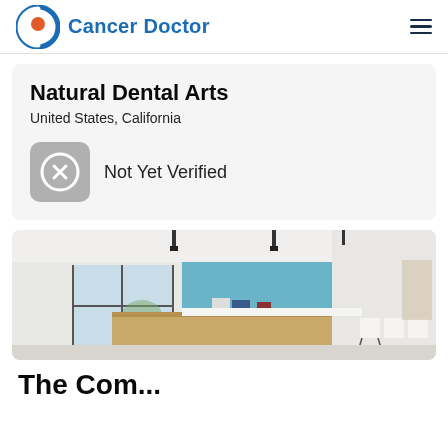Cancer Doctor
Natural Dental Arts
United States, California
Not Yet Verified
[Figure (photo): Interior of a dental clinic reception area with a wooden front desk, blue accent wall, large window, and white waiting chairs visible in the background.]
The Com...